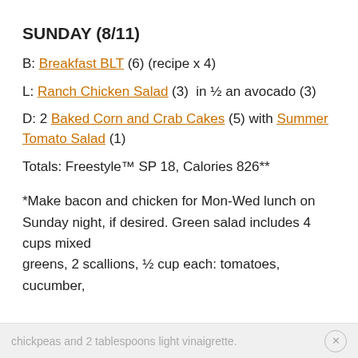SUNDAY (8/11)
B: Breakfast BLT (6) (recipe x 4)
L: Ranch Chicken Salad (3)  in ½ an avocado (3)
D: 2 Baked Corn and Crab Cakes (5) with Summer Tomato Salad (1)
Totals: Freestyle™ SP 18, Calories 826**
*Make bacon and chicken for Mon-Wed lunch on Sunday night, if desired. Green salad includes 4 cups mixed greens, 2 scallions, ½ cup each: tomatoes, cucumber,
chickpeas and 2 tablespoons light vinaigrette.